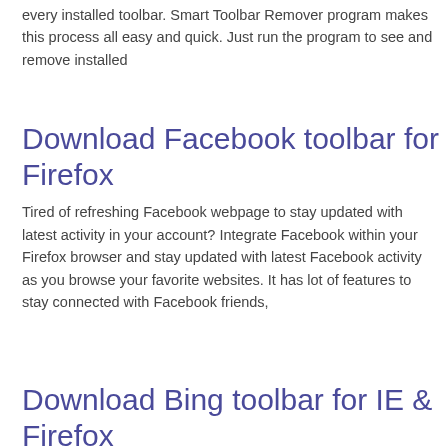every installed toolbar. Smart Toolbar Remover program makes this process all easy and quick. Just run the program to see and remove installed
Download Facebook toolbar for Firefox
Tired of refreshing Facebook webpage to stay updated with latest activity in your account? Integrate Facebook within your Firefox browser and stay updated with latest Facebook activity as you browse your favorite websites. It has lot of features to stay connected with Facebook friends,
Download Bing toolbar for IE & Firefox
Microsoft Live search became Bing decision search and now MSN toolbar has become Bing toolbar. You can download this free toolbar to have Bing powered search integrated in Internet Explorer or Firefox web browser. Besides Bing search, it has loads of other features for accessing Microsoft